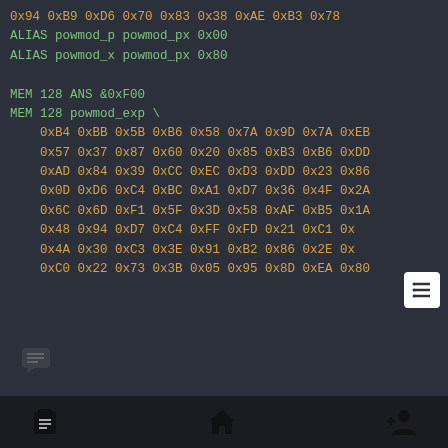0x94 0xB9 0xD6 0x70 0x83 0x38 0xAE 0xB3 0x78
ALIAS powmod_p powmod_px 0x00
ALIAS powmod_x powmod_px 0x80
MEM 128 ANS &0xF00
MEM 128 powmod_exp \
0xB4 0xBB 0x5B 0xB6 0x58 0x7A 0x9D 0x7A 0xEB
0x57 0x37 0x87 0x60 0x20 0x85 0xB3 0xB6 0xDD
0xAD 0x84 0x39 0xCC 0xEC 0xD3 0xDD 0x23 0x86
0x0D 0xD6 0xC4 0xBC 0xA1 0xD7 0x36 0x4F 0x2A
0x6C 0x6D 0xF1 0x5F 0x3D 0x58 0xAF 0xB5 0x1A
0x48 0x94 0xD7 0xC4 0xFF 0xFD 0x21 0xC1 0x...
0x4A 0x30 0xC3 0x3E 0x91 0xB2 0x86 0x2E 0x...
0xC0 0x22 0x73 0x3B 0x05 0x95 0x8D 0xEA 0x80
Navigation footer with list, home, add-person icons